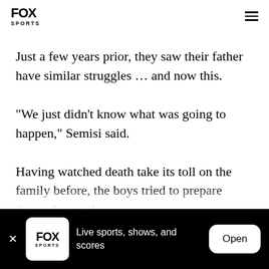FOX SPORTS
Just a few years prior, they saw their father have similar struggles … and now this.
"We just didn't know what was going to happen," Semisi said.
Having watched death take its toll on the family before, the boys tried to prepare themselves as best
Live sports, shows, and scores  Open